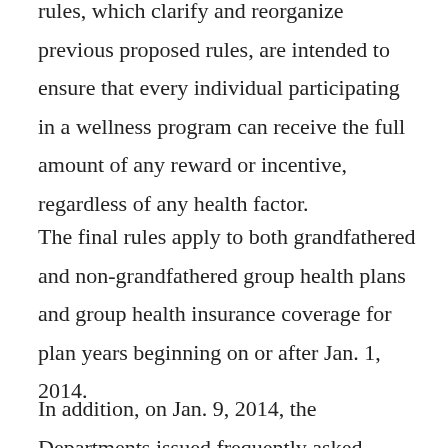rules, which clarify and reorganize previous proposed rules, are intended to ensure that every individual participating in a wellness program can receive the full amount of any reward or incentive, regardless of any health factor.
The final rules apply to both grandfathered and non-grandfathered group health plans and group health insurance coverage for plan years beginning on or after Jan. 1, 2014.
In addition, on Jan. 9, 2014, the Departments issued frequently asked questions (FAQs) that address several issues related to wellness